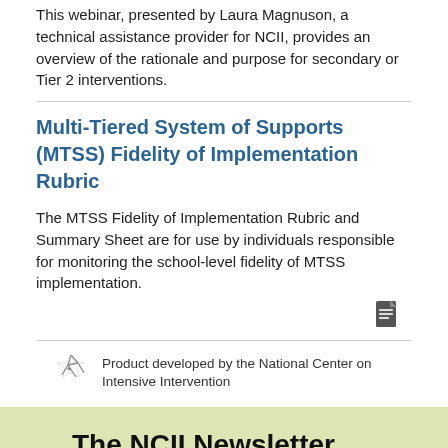This webinar, presented by Laura Magnuson, a technical assistance provider for NCII, provides an overview of the rationale and purpose for secondary or Tier 2 interventions.
Multi-Tiered System of Supports (MTSS) Fidelity of Implementation Rubric
The MTSS Fidelity of Implementation Rubric and Summary Sheet are for use by individuals responsible for monitoring the school-level fidelity of MTSS implementation.
Product developed by the National Center on Intensive Intervention
The NCII Newsletter